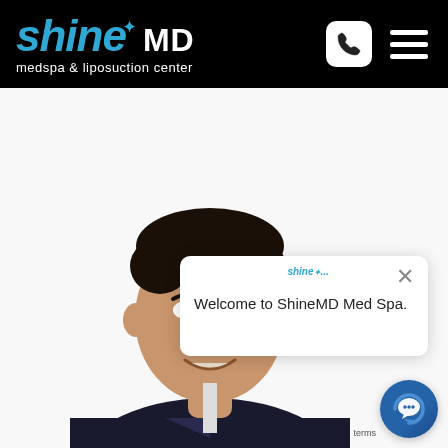ShineMD medspa & liposuction center
[Figure (photo): Photo of a smiling South Asian man in a dark suit and white shirt, professional headshot on white background, partially obscured by chat popup overlay]
shine...
Welcome to ShineMD Med Spa.